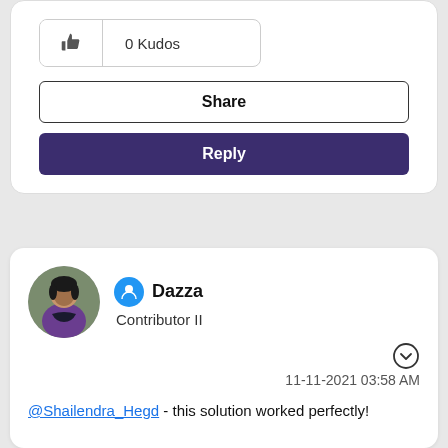[Figure (other): Thumbs up icon with 0 Kudos button]
Share
Reply
[Figure (photo): Profile photo of a person with dark hair wearing a purple jacket]
Dazza
Contributor II
11-11-2021 03:58 AM
@Shailendra_Hegd - this solution worked perfectly!